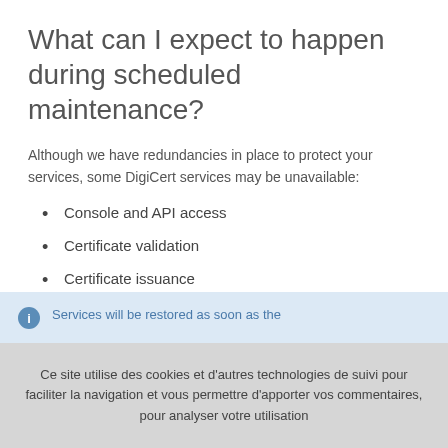What can I expect to happen during scheduled maintenance?
Although we have redundancies in place to protect your services, some DigiCert services may be unavailable:
Console and API access
Certificate validation
Certificate issuance
Websites (for example, digicert.com)
Services will be restored as soon as the
Ce site utilise des cookies et d'autres technologies de suivi pour faciliter la navigation et vous permettre d'apporter vos commentaires, pour analyser votre utilisation